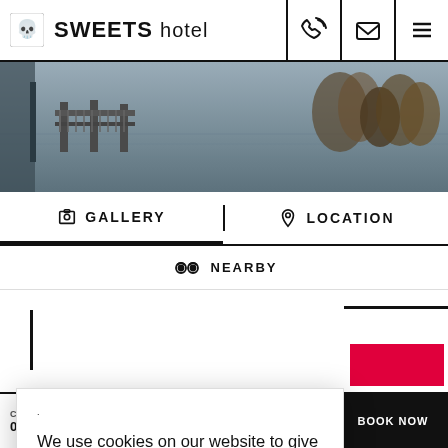SWEETS hotel
[Figure (photo): Hotel exterior waterfront photo showing water, bridge/dock structure, and trees]
GALLERY
LOCATION
NEARBY
We use cookies on our website to give you the most relevant experience by remembering your preferences and repeat visits. By clicking “Accept All”, you consent to the use of ALL the cookies. However, you may visit "Cookie Settings" to provide a controlled consent.
Cookie Settings
Accept All
CH
08/31/2022
09/01/2022
BOOK NOW